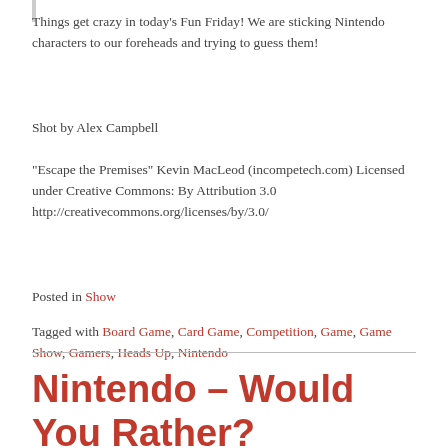Things get crazy in today's Fun Friday! We are sticking Nintendo characters to our foreheads and trying to guess them!
Shot by Alex Campbell
“Escape the Premises” Kevin MacLeod (incompetech.com) Licensed under Creative Commons: By Attribution 3.0 http://creativecommons.org/licenses/by/3.0/
Posted in Show
Tagged with Board Game, Card Game, Competition, Game, Game Show, Gamers, Heads Up, Nintendo
Nintendo – Would You Rather?